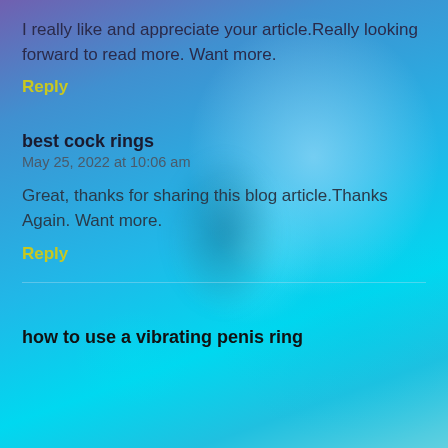I really like and appreciate your article.Really looking forward to read more. Want more.
Reply
best cock rings
May 25, 2022 at 10:06 am
Great, thanks for sharing this blog article.Thanks Again. Want more.
Reply
how to use a vibrating penis ring